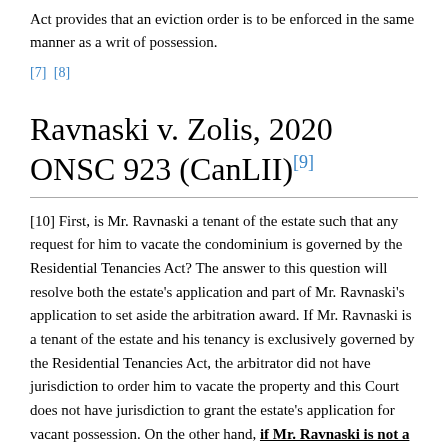Act provides that an eviction order is to be enforced in the same manner as a writ of possession.
[7] [8]
Ravnaski v. Zolis, 2020 ONSC 923 (CanLII)[9]
[10] First, is Mr. Ravnaski a tenant of the estate such that any request for him to vacate the condominium is governed by the Residential Tenancies Act? The answer to this question will resolve both the estate's application and part of Mr. Ravnaski's application to set aside the arbitration award. If Mr. Ravnaski is a tenant of the estate and his tenancy is exclusively governed by the Residential Tenancies Act, the arbitrator did not have jurisdiction to order him to vacate the property and this Court does not have jurisdiction to grant the estate's application for vacant possession. On the other hand, if Mr. Ravnaski is not a tenant of the estate, the estate is entitled to an order for vacant possession of the